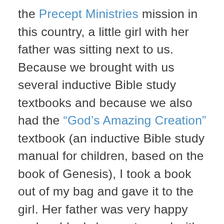the Precept Ministries mission in this country, a little girl with her father was sitting next to us. Because we brought with us several inductive Bible study textbooks and because we also had the “God’s Amazing Creation” textbook (an inductive Bible study manual for children, based on the book of Genesis), I took a book out of my bag and gave it to the girl. Her father was very happy and suddenly began to read with curiosity. Another man sitting next to him approached and asked for a book for his child and I gladly offered it to him.